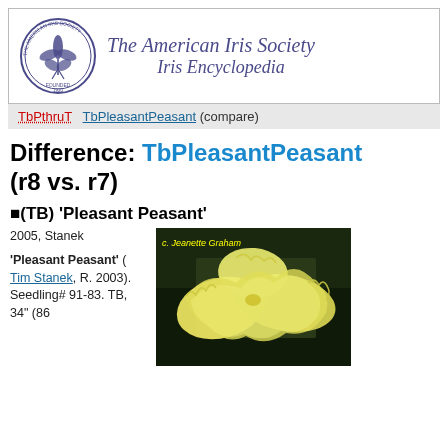[Figure (logo): The American Iris Society logo with iris flower illustration, and header text 'The American Iris Society Iris Encyclopedia' in italic serif font]
TbPthruT  TbPleasantPeasant (compare)
Difference: TbPleasantPeasant (r8 vs. r7)
■(TB) 'Pleasant Peasant'
2005, Stanek
'Pleasant Peasant' ( Tim Stanek, R. 2003). Seedling# 91-83. TB, 34" (86
[Figure (photo): Close-up photograph of a yellow iris flower with ruffled petals against a dark green background. Credit: c. Jeanette Graham]